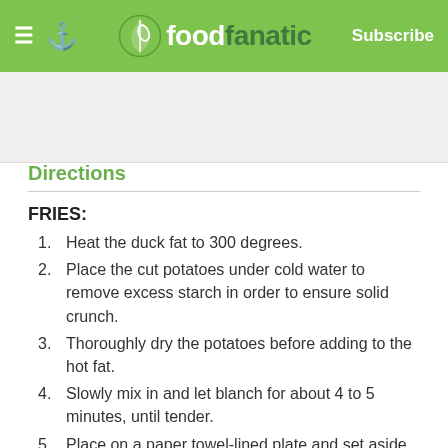foodfanatic — Subscribe
[Figure (other): Blank advertisement/image placeholder area]
Directions
FRIES:
Heat the duck fat to 300 degrees.
Place the cut potatoes under cold water to remove excess starch in order to ensure solid crunch.
Thoroughly dry the potatoes before adding to the hot fat.
Slowly mix in and let blanch for about 4 to 5 minutes, until tender.
Place on a paper towel-lined plate and set aside to cool to room temperature.
Now turn up heat on fat to 360.
YOGURT:
In small bowl, add a cup Greek yogurt, lemon zest